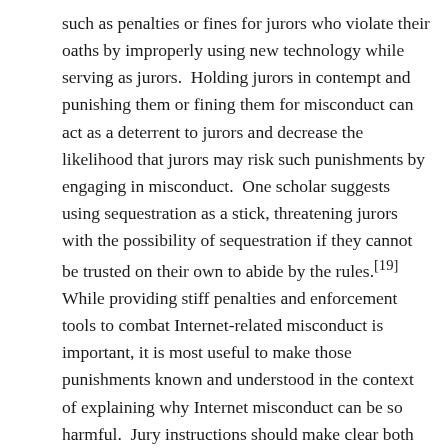such as penalties or fines for jurors who violate their oaths by improperly using new technology while serving as jurors.  Holding jurors in contempt and punishing them or fining them for misconduct can act as a deterrent to jurors and decrease the likelihood that jurors may risk such punishments by engaging in misconduct.  One scholar suggests using sequestration as a stick, threatening jurors with the possibility of sequestration if they cannot be trusted on their own to abide by the rules.[19]  While providing stiff penalties and enforcement tools to combat Internet-related misconduct is important, it is most useful to make those punishments known and understood in the context of explaining why Internet misconduct can be so harmful.  Jury instructions should make clear both the reasons why Internet usage is prohibited and then the subsquent punishments if those rules are violated.